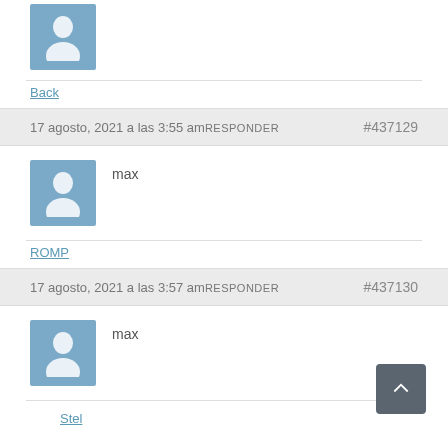[Figure (illustration): User avatar placeholder icon (blue/grey square with white silhouette of person), partial at top]
Back
17 agosto, 2021 a las 3:55 am RESPONDER #437129
[Figure (illustration): User avatar placeholder icon (blue/grey square with white silhouette of person)]
max
ROMP
17 agosto, 2021 a las 3:57 am RESPONDER #437130
[Figure (illustration): User avatar placeholder icon (blue/grey square with white silhouette of person)]
max
Stel